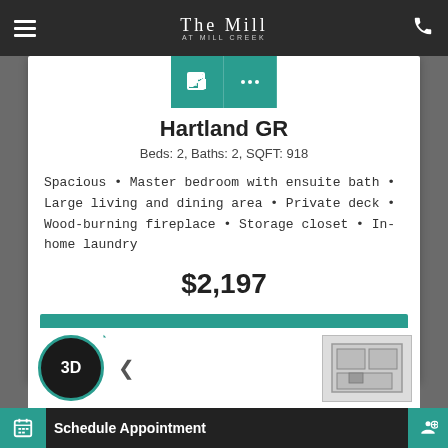The Mill at Mill Creek
Hartland GR
Beds: 2, Baths: 2, SQFT: 918
Spacious • Master bedroom with ensuite bath • Large living and dining area • Private deck • Wood-burning fireplace • Storage closet • In-home laundry
$2,197
Available Units
[Figure (screenshot): Bottom section showing 3D button, floor plan thumbnail, navigation arrow, and Schedule Appointment bar]